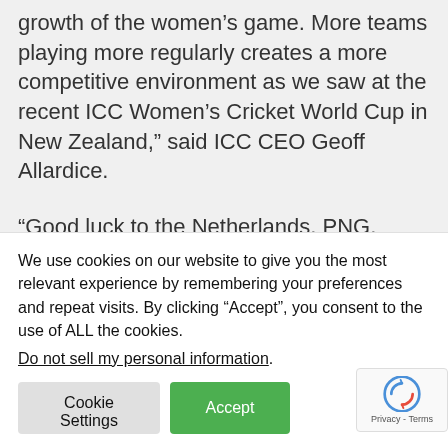growth of the women's game. More teams playing more regularly creates a more competitive environment as we saw at the recent ICC Women's Cricket World Cup in New Zealand," said ICC CEO Geoff Allardice.
“Good luck to the Netherlands, PNG, Scotland, Thailand, and the USA on what I hope will be a great opportunity to develop in 50-over cricket in their countries.” He concluded
The news comes on the same day as the ICC announced the new edition of the ICC...
We use cookies on our website to give you the most relevant experience by remembering your preferences and repeat visits. By clicking “Accept”, you consent to the use of ALL the cookies.
Do not sell my personal information.